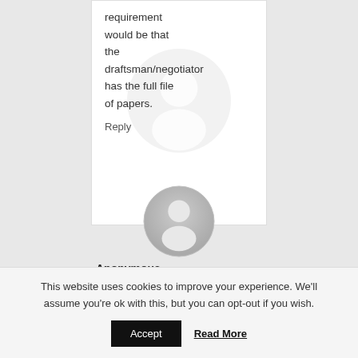requirement would be that the draftsman/negotiator has the full file of papers.
Reply
[Figure (illustration): Anonymous user avatar circle with person silhouette icon, gray gradient]
Anonymous
18th May 2011
This website uses cookies to improve your experience. We'll assume you're ok with this, but you can opt-out if you wish.